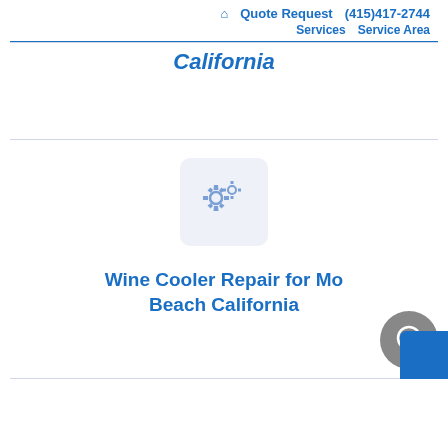🏠 Quote Request (415)417-2744 Services Service Area
California
[Figure (illustration): Gear icons illustration in a light blue rounded box]
Wine Cooler Repair for Mo... Beach California